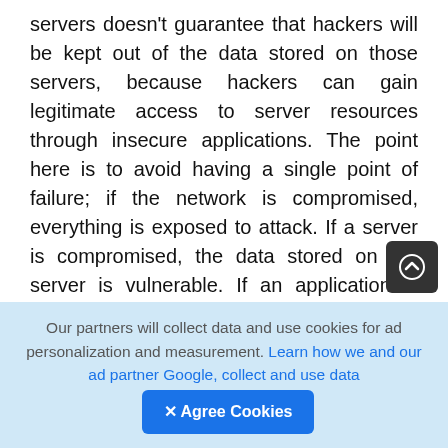servers doesn't guarantee that hackers will be kept out of the data stored on those servers, because hackers can gain legitimate access to server resources through insecure applications. The point here is to avoid having a single point of failure; if the network is compromised, everything is exposed to attack. If a server is compromised, the data stored on the server is vulnerable. If an application is insecure, even a secured server can be taken over. The better way to secure any system is a three-pronged defense: Secure the network, secure the server, and secure every application. This way, if one of the three parts of the equation is compromised, the other two should withstand the attack.
Our partners will collect data and use cookies for ad personalization and measurement. Learn how we and our ad partner Google, collect and use data